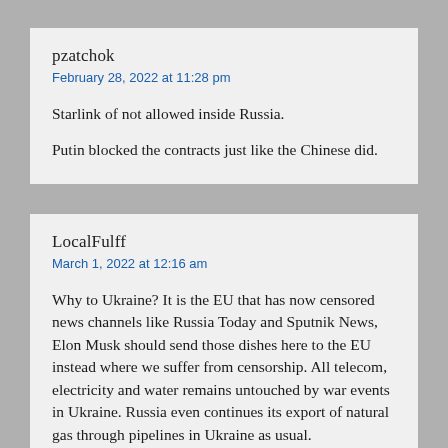pzatchok
February 28, 2022 at 11:28 pm
Starlink of not allowed inside Russia.

Putin blocked the contracts just like the Chinese did.
LocalFulff
March 1, 2022 at 12:16 am
Why to Ukraine? It is the EU that has now censored news channels like Russia Today and Sputnik News, Elon Musk should send those dishes here to the EU instead where we suffer from censorship. All telecom, electricity and water remains untouched by war events in Ukraine. Russia even continues its export of natural gas through pipelines in Ukraine as usual.